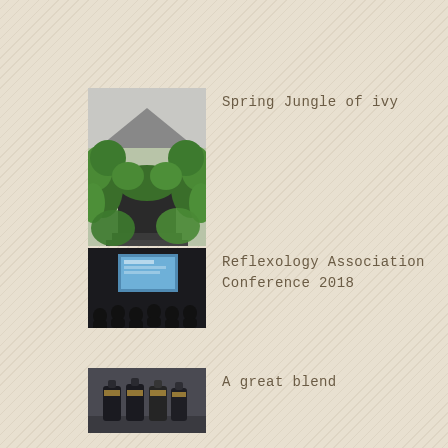[Figure (photo): Ivy-covered entrance gate or archway with lush green ivy, house visible in background]
Spring Jungle of ivy
[Figure (photo): Conference room with audience silhouettes and a presentation screen at the front]
Reflexology Association Conference 2018
[Figure (photo): Dark bottles of essential oil blends on a surface]
A great blend